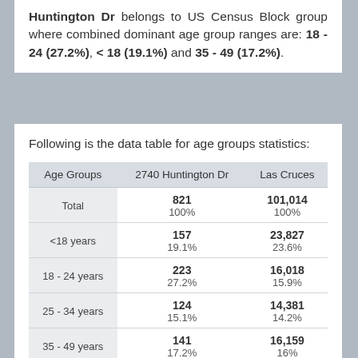Huntington Dr belongs to US Census Block group where combined dominant age group ranges are: 18 - 24 (27.2%), < 18 (19.1%) and 35 - 49 (17.2%).
Following is the data table for age groups statistics:
| Age Groups | 2740 Huntington Dr | Las Cruces |
| --- | --- | --- |
| Total | 821
100% | 101,014
100% |
| <18 years | 157
19.1% | 23,827
23.6% |
| 18 - 24 years | 223
27.2% | 16,018
15.9% |
| 25 - 34 years | 124
15.1% | 14,381
14.2% |
| 35 - 49 years | 141
17.2% | 16,159
16% |
| 50 - 54 years | 70 | 15,633 |